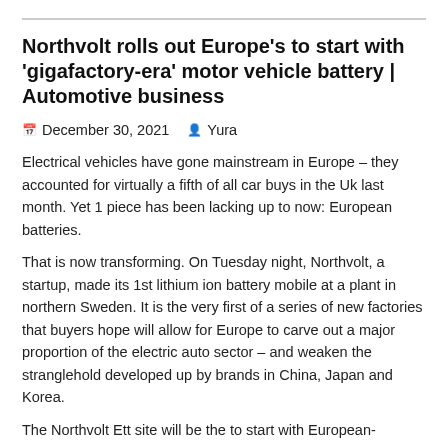Northvolt rolls out Europe's to start with 'gigafactory-era' motor vehicle battery | Automotive business
December 30, 2021   Yura
Electrical vehicles have gone mainstream in Europe – they accounted for virtually a fifth of all car buys in the Uk last month. Yet 1 piece has been lacking up to now: European batteries.
That is now transforming. On Tuesday night, Northvolt, a startup, made its 1st lithium ion battery mobile at a plant in northern Sweden. It is the very first of a series of new factories that buyers hope will allow for Europe to carve out a major proportion of the electric auto sector – and weaken the stranglehold developed up by brands in China, Japan and Korea.
The Northvolt Ett site will be the to start with European-